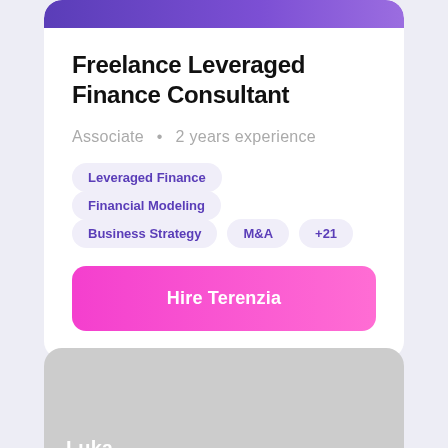Freelance Leveraged Finance Consultant
Associate  •  2 years experience
Leveraged Finance
Financial Modeling
Business Strategy
M&A
+21
Hire Terenzia
Luka